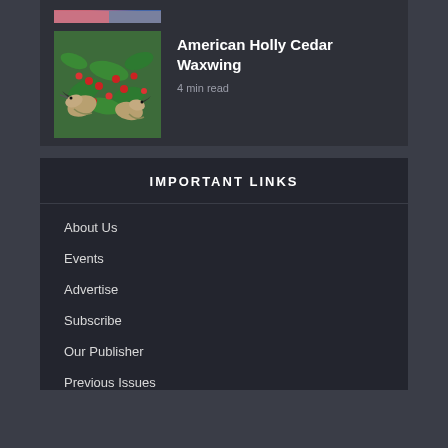[Figure (photo): Partial view of a thumbnail image at top of card, showing colorful clothing/flowers]
[Figure (photo): Cedar waxwings perched among American holly branches with red berries]
American Holly Cedar Waxwing
4 min read
IMPORTANT LINKS
About Us
Events
Advertise
Subscribe
Our Publisher
Previous Issues